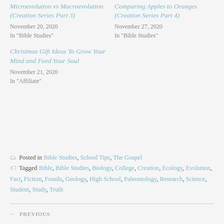Microevolution vs Macroevolution (Creation Series Part 3)
November 20, 2020
In "Bible Studies"
Comparing Apples to Oranges (Creation Series Part 4)
November 27, 2020
In "Bible Studies"
Christmas Gift Ideas To Grow Your Mind and Feed Your Soul
November 21, 2020
In "Affiliate"
Posted in Bible Studies, School Tips, The Gospel
Tagged Bible, Bible Studies, Biology, College, Creation, Ecology, Evolution, Fact, Fiction, Fossils, Geology, High School, Paleontology, Research, Science, Student, Study, Truth
← PREVIOUS